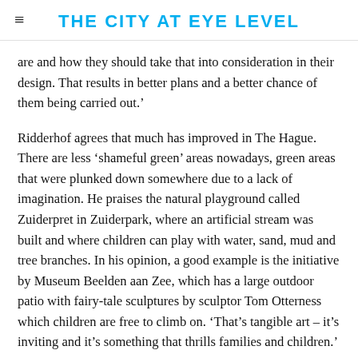THE CITY AT EYE LEVEL
are and how they should take that into consideration in their design. That results in better plans and a better chance of them being carried out.'
Ridderhof agrees that much has improved in The Hague. There are less ‘shameful green’ areas nowadays, green areas that were plunked down somewhere due to a lack of imagination. He praises the natural playground called Zuiderpret in Zuiderpark, where an artificial stream was built and where children can play with water, sand, mud and tree branches. In his opinion, a good example is the initiative by Museum Beelden aan Zee, which has a large outdoor patio with fairy-tale sculptures by sculptor Tom Otterness which children are free to climb on. ‘That’s tangible art – it’s inviting and it’s something that thrills families and children.’